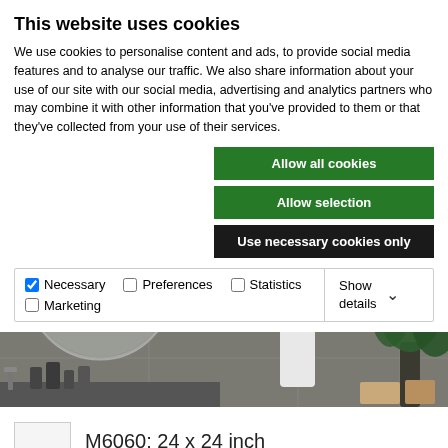This website uses cookies
We use cookies to personalise content and ads, to provide social media features and to analyse our traffic. We also share information about your use of our site with our social media, advertising and analytics partners who may combine it with other information that you've provided to them or that they've collected from your use of their services.
Allow all cookies
Allow selection
Use necessary cookies only
| ✓ Necessary | ☐ Preferences | ☐ Statistics | Show details ∨ |
| ☐ Marketing |  |  |  |
[Figure (photo): Bathroom interior with large round mirror, grey tiled walls, white vase with tropical leaves, green plant, and bathroom accessories on counter]
M6060: 24 x 24 inch